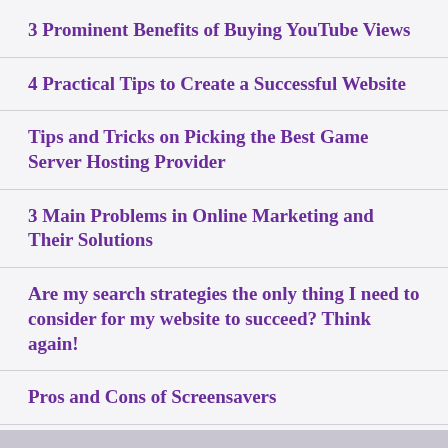3 Prominent Benefits of Buying YouTube Views
4 Practical Tips to Create a Successful Website
Tips and Tricks on Picking the Best Game Server Hosting Provider
3 Main Problems in Online Marketing and Their Solutions
Are my search strategies the only thing I need to consider for my website to succeed? Think again!
Pros and Cons of Screensavers
5 Important Qualities to Look for in a Professional Content Writer